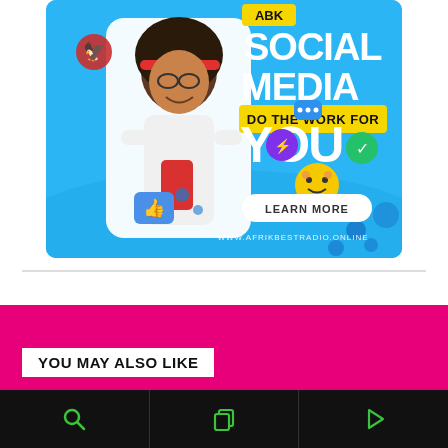[Figure (illustration): ABK Social Media Do The Work For You advertisement with a young woman holding a phone, surrounded by 3D social media icons, on a blue background. Website: www.afrikbestradio.online. 'LEARN MORE' button shown.]
YOU MAY ALSO LIKE
[Figure (infographic): Bottom navigation bar with three black cells: search icon (magnifier, green), copy/layers icon (green), and play button icon (green)]